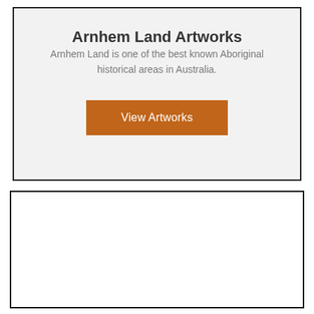Arnhem Land Artworks
Arnhem Land is one of the best known Aboriginal historical areas in Australia.
[Figure (other): Orange button labeled 'View Artworks']
[Figure (other): White empty card/panel with black border in lower half of page]